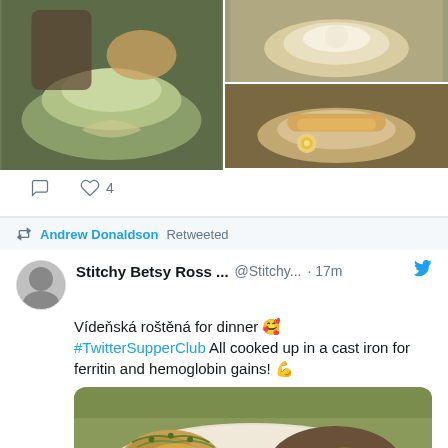[Figure (photo): Three food photos: left shows a dish with shredded vegetables, top right shows a soup/cream dish, bottom right shows a bowl with egg and fried items]
♡ 4
Andrew Donaldson Retweeted
Stitchy Betsy Ross ...  @Stitchy...  · 17m
Vídeňská roštěná for dinner 🥰 #TwitterSupperClub All cooked up in a cast iron for ferritin and hemoglobin gains! 💪
[Figure (photo): A plate of food showing roasted potatoes with herbs and mushrooms/caramelized onions]